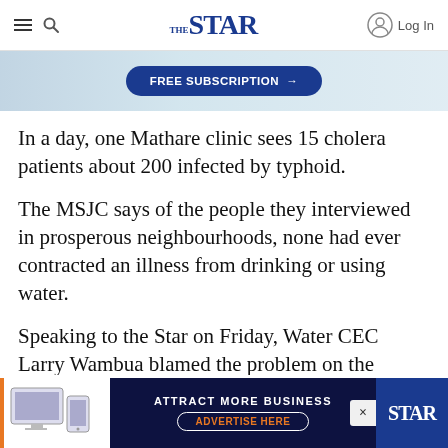THE STAR — Log In
[Figure (other): Blue rounded button with white text: FREE SUBSCRIPTION → over a light blue/grey banner background]
In a day, one Mathare clinic sees 15 cholera patients about 200 infected by typhoid.
The MSJC says of the people they interviewed in prosperous neighbourhoods, none had ever contracted an illness from drinking or using water.
Speaking to the Star on Friday, Water CEC Larry Wambua blamed the problem on the cartels that
[Figure (other): Dark navy advertisement banner: ATTRACT MORE BUSINESS / ADVERTISE HERE (in orange), with device images on left and The Star logo on right]